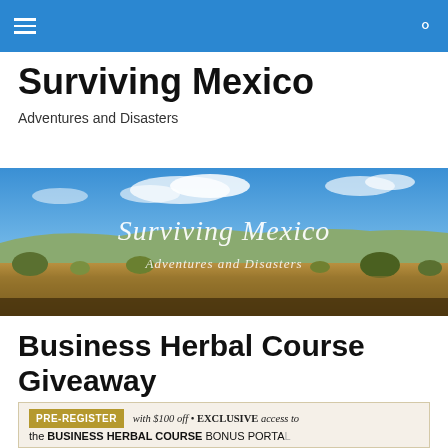Navigation bar with hamburger menu and search icon
Surviving Mexico
Adventures and Disasters
[Figure (photo): Landscape banner image showing dry Mexican scrubland with blue sky and clouds, overlaid with cursive white text reading 'Surviving Mexico Adventures and Disasters']
Business Herbal Course Giveaway
PRE-REGISTER with $100 off • EXCLUSIVE access to the BUSINESS HERBAL COURSE BONUS PORTAL